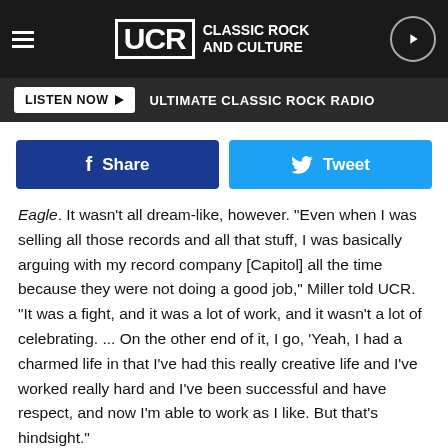UCR CLASSIC ROCK AND CULTURE
LISTEN NOW  ULTIMATE CLASSIC ROCK RADIO
[Figure (screenshot): Share and Tweet social media buttons — Facebook Share button (dark blue) and Twitter Tweet button (light blue)]
Eagle. It wasn't all dream-like, however. "Even when I was selling all those records and all that stuff, I was basically arguing with my record company [Capitol] all the time because they were not doing a good job," Miller told UCR. "It was a fight, and it was a lot of work, and it wasn't a lot of celebrating. ... On the other end of it, I go, 'Yeah, I had a charmed life in that I've had this really creative life and I've worked really hard and I've been successful and have respect, and now I'm able to work as I like. But that's hindsight."